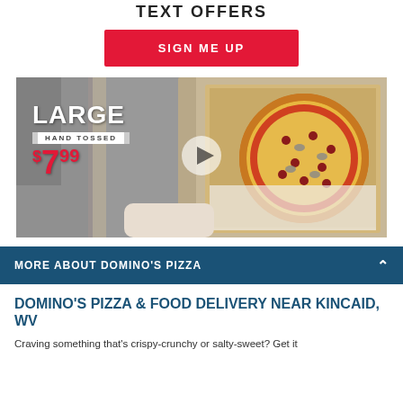TEXT OFFERS
SIGN ME UP
[Figure (photo): Domino's pizza in an open box with text overlay: LARGE HAND TOSSED $7.99, with a play button in the center]
MORE ABOUT DOMINO'S PIZZA
DOMINO'S PIZZA & FOOD DELIVERY NEAR KINCAID, WV
Craving something that's crispy-crunchy or salty-sweet? Get it